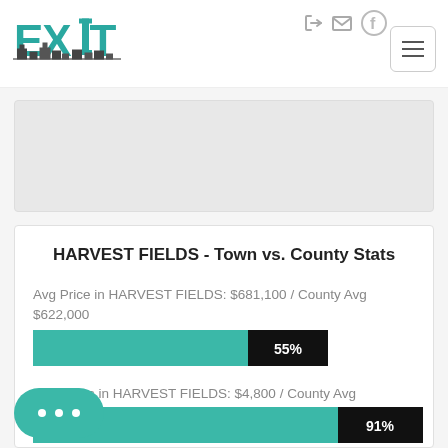[Figure (logo): EXIT Realty logo with teal letters and building silhouette]
[Figure (other): Navigation icons: sign-in, email, Facebook circle, hamburger menu button]
[Figure (other): Gray placeholder area, likely a map or banner image]
HARVEST FIELDS - Town vs. County Stats
Avg Price in HARVEST FIELDS: $681,100 / County Avg $622,000
[Figure (bar-chart): Avg Price bar]
Avg Taxes in HARVEST FIELDS: $4,800 / County Avg
[Figure (bar-chart): Avg Taxes bar]